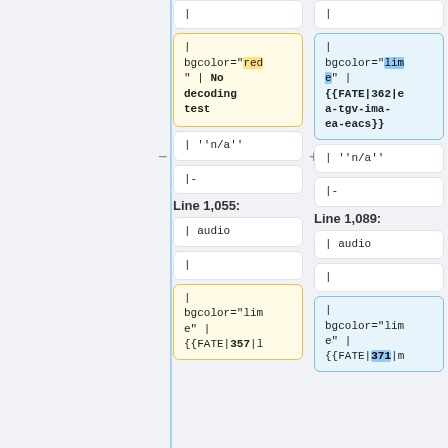|
|
| bgcolor="red" | No decoding test
| bgcolor="lime" | {{FATE|362|ea-tgv-ima-ea-eacs}}
| ''n/a''
| ''n/a''
|-
|-
Line 1,055:
Line 1,089:
| audio
| audio
|
|
| bgcolor="lime" | {{FATE|357|l
| bgcolor="lime" | {{FATE|371|m